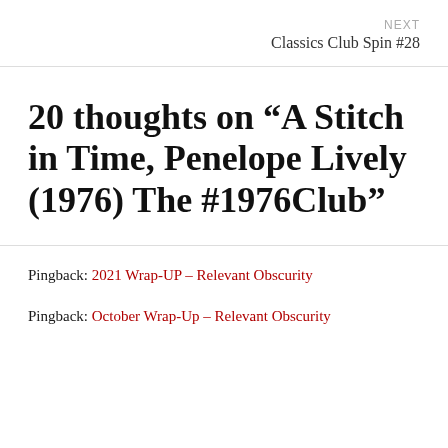NEXT
Classics Club Spin #28
20 thoughts on “A Stitch in Time, Penelope Lively (1976) The #1976Club”
Pingback: 2021 Wrap-UP – Relevant Obscurity
Pingback: October Wrap-Up – Relevant Obscurity